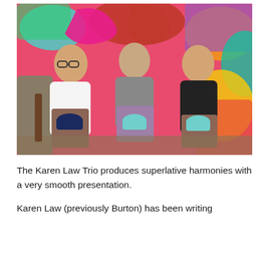[Figure (photo): Three people sitting together holding cups of coffee or tea in front of a colorful graffiti wall. On the left is a young woman with glasses and long brown hair wearing a white top and patterned skirt, holding a dark navy cup. In the center is a woman with curly hair wearing a grey t-shirt, holding a green cup. On the right is a young man with long hair wearing a black t-shirt, holding a green cup.]
The Karen Law Trio produces superlative harmonies with a very smooth presentation.
Karen Law (previously Burton) has been writing